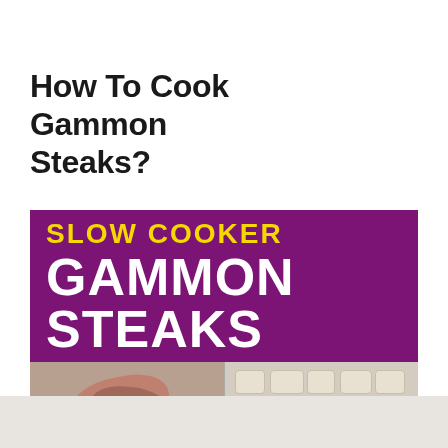How To Cook Gammon Steaks?
[Figure (photo): Promotional image for Slow Cooker Gammon Steaks recipe. Purple banner with yellow text 'SLOW COOKER' and white text 'GAMMON STEAKS', below which is a photo of raw gammon steaks on a wooden board alongside chopped onions.]